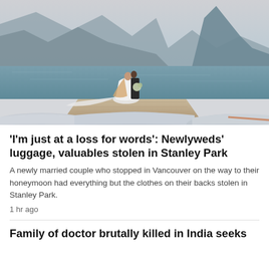[Figure (photo): A bride and groom kissing on a wooden dock by a lake, with mountains in the background. Upturned rowboats are in the foreground.]
'I'm just at a loss for words': Newlyweds' luggage, valuables stolen in Stanley Park
A newly married couple who stopped in Vancouver on the way to their honeymoon had everything but the clothes on their backs stolen in Stanley Park.
1 hr ago
Family of doctor brutally killed in India seeks